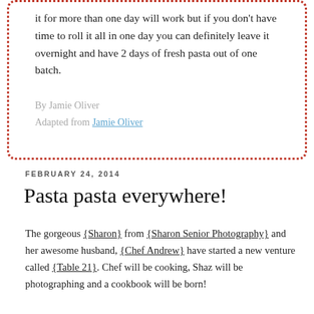it for more than one day will work but if you don't have time to roll it all in one day you can definitely leave it overnight and have 2 days of fresh pasta out of one batch.
By Jamie Oliver
Adapted from Jamie Oliver
FEBRUARY 24, 2014
Pasta pasta everywhere!
The gorgeous {Sharon} from {Sharon Senior Photography} and her awesome husband, {Chef Andrew} have started a new venture called {Table 21}. Chef will be cooking, Shaz will be photographing and a cookbook will be born!